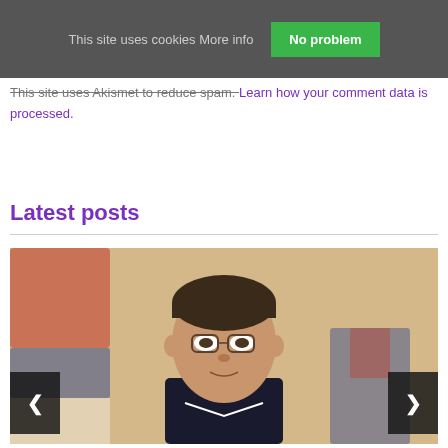This site uses cookies More info
No problem
This site uses Akismet to reduce spam. Learn how your comment data is processed.
Latest posts
[Figure (photo): A man wearing glasses photographed in front of a blurred Serbian flag background, with navigation arrows on left and right sides]